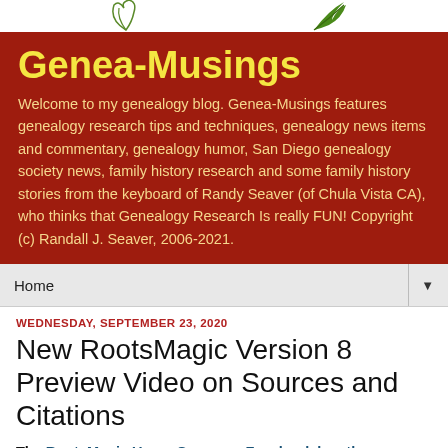[Figure (illustration): White background area with two decorative leaf/plant illustrations — a curling vine on the left and a green leaf on the right, forming part of the blog logo/header.]
Genea-Musings
Welcome to my genealogy blog. Genea-Musings features genealogy research tips and techniques, genealogy news items and commentary, genealogy humor, San Diego genealogy society news, family history research and some family history stories from the keyboard of Randy Seaver (of Chula Vista CA), who thinks that Genealogy Research Is really FUN! Copyright (c) Randall J. Seaver, 2006-2021.
Home ▼
WEDNESDAY, SEPTEMBER 23, 2020
New RootsMagic Version 8 Preview Video on Sources and Citations
The RootsMagic Users Group on Facebook has the